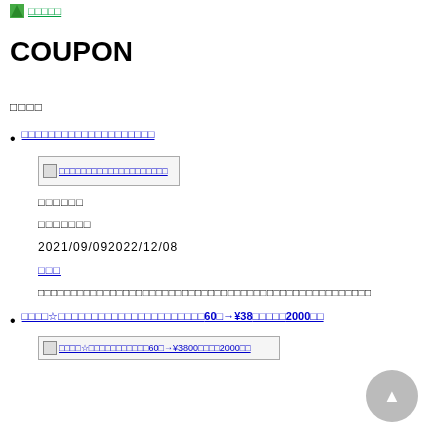□□□□□
COUPON
□□□□
□□□□□□□□□□□□□□□□□□□□
[Figure (screenshot): Thumbnail image placeholder with link text]
□□□□□□
□□□□□□□
2021/09/092022/12/08
□□□
□□□□□□□□□□□□□□□□□□□□□□□□□□□□□□□□□□□□□□□□□□□□□□□
□□□□☆□□□□□□□□□□□□□□□□□□□□□□60□→¥38□□□□□2000□□
[Figure (screenshot): Second thumbnail image placeholder with link text]